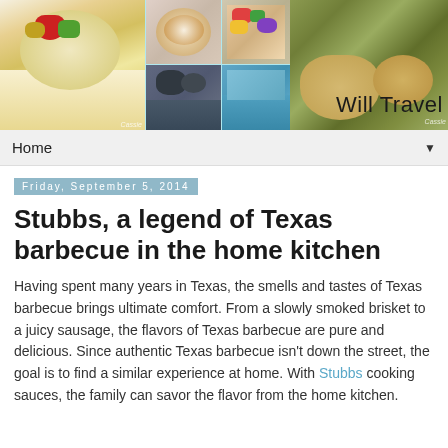[Figure (photo): Blog header banner with food/travel photo collage and wildlife photo, with 'Will Travel' text on cyan background]
Home ▼
Friday, September 5, 2014
Stubbs, a legend of Texas barbecue in the home kitchen
Having spent many years in Texas, the smells and tastes of Texas barbecue brings ultimate comfort. From a slowly smoked brisket to a juicy sausage, the flavors of Texas barbecue are pure and delicious. Since authentic Texas barbecue isn't down the street, the goal is to find a similar experience at home. With Stubbs cooking sauces, the family can savor the flavor from the home kitchen.